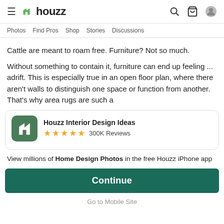≡ h houzz   🔍 🛒 👤
Photos   Find Pros   Shop   Stories   Discussions
Cattle are meant to roam free. Furniture? Not so much.
Without something to contain it, furniture can end up feeling ... adrift. This is especially true in an open floor plan, where there aren't walls to distinguish one space or function from another. That's why area rugs are such a
[Figure (infographic): Houzz app promotion card with green logo icon, app name 'Houzz Interior Design Ideas', 5 gold stars, 300K Reviews, and description text]
View millions of Home Design Photos in the free Houzz iPhone app
Continue
Go to Mobile Site